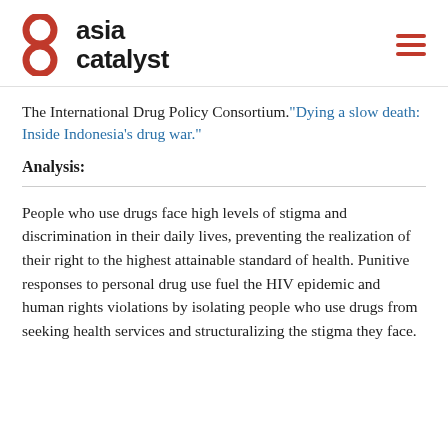asia catalyst
The International Drug Policy Consortium.“Dying a slow death: Inside Indonesia’s drug war.”
Analysis:
People who use drugs face high levels of stigma and discrimination in their daily lives, preventing the realization of their right to the highest attainable standard of health. Punitive responses to personal drug use fuel the HIV epidemic and human rights violations by isolating people who use drugs from seeking health services and structuralizing the stigma they face.